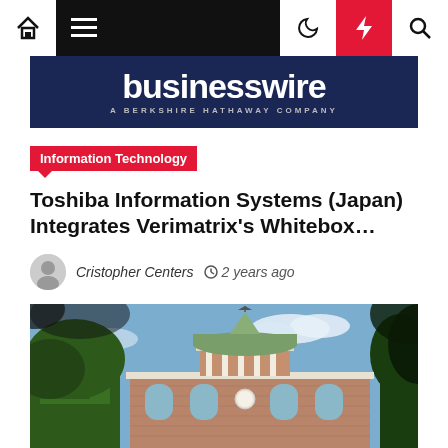BusinessWire — A Berkshire Hathaway Company
Information Technology
Toshiba Information Systems (Japan) Integrates Verimatrix's Whitebox…
Cristopher Centers  2 years ago
[Figure (photo): Photograph of a historic brick building with a white cupola/clock tower topped with a weathervane, framed by green trees against a blue sky.]